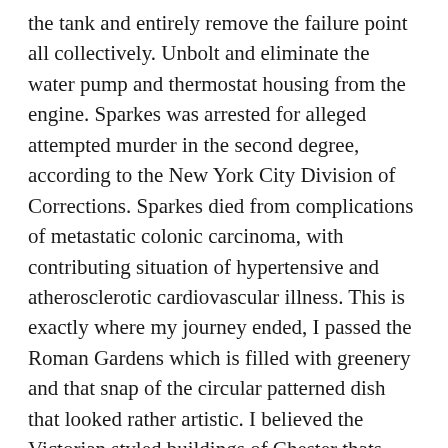the tank and entirely remove the failure point all collectively. Unbolt and eliminate the water pump and thermostat housing from the engine. Sparkes was arrested for alleged attempted murder in the second degree, according to the New York City Division of Corrections. Sparkes died from complications of metastatic colonic carcinoma, with contributing situation of hypertensive and atherosclerotic cardiovascular illness. This is exactly where my journey ended, I passed the Roman Gardens which is filled with greenery and that snap of the circular patterned dish that looked rather artistic. I believed the Victorian styled buildings of Chester thats documented above was essential to demonstrate because it is so typical inside the city. My final snaps were of the River Dee and a far shot of the bridge, all from Chester's walls. All round I enjoyed the photography understanding knowledge it needs a lot of patience and possibly much more pricey equipment to create more impressive content material but learning the renowned tool of visual story telling via a frozen moment in time was